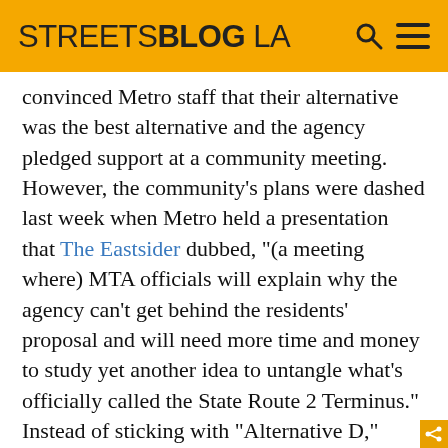STREETSBLOG LA
convinced Metro staff that their alternative was the best alternative and the agency pledged support at a community meeting. However, the community's plans were dashed last week when Metro held a presentation that The Eastsider dubbed, "(a meeting where) MTA officials will explain why the agency can't get behind the residents' proposal and will need more time and money to study yet another idea to untangle what's officially called the State Route 2 Terminus." Instead of sticking with "Alternative D," Metro is proposing a "hybrid" alternative that takes pieces from many of the proposals outlined in the environmental documents. The only community meeting, besides the Metro Board process which will begin at next Wednesday's Planning and